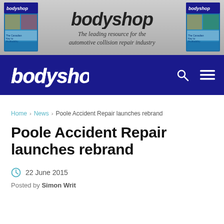[Figure (illustration): Bodyshop magazine banner ad showing magazine covers on left and right, with bodyshop logo in center and tagline 'The leading resource for the automotive collision repair industry']
[Figure (illustration): Dark navy blue navigation bar with bodyshop logo on left, search icon and hamburger menu icon on right]
Home > News > Poole Accident Repair launches rebrand
Poole Accident Repair launches rebrand
22 June 2015
Posted by Simon Writ